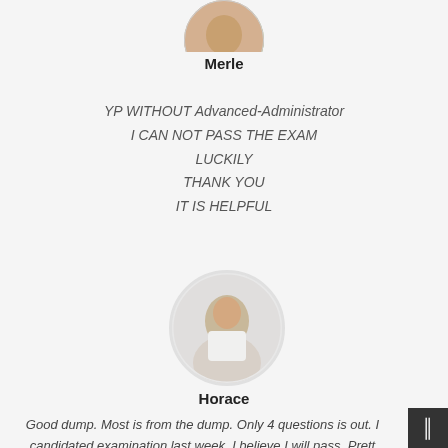[Figure (photo): Circular avatar photo of Merle, partially visible at top]
Merle
YP WITHOUT Advanced-Administrator
I CAN NOT PASS THE EXAM
LUCKILY
THANK YOU
IT IS HELPFUL
[Figure (photo): Circular avatar photo of Horace, a young man in a white shirt]
Horace
Good dump. Most is from the dump. Only 4 questions is out. I candidated examination last week. I believe I will pass. Prett easy.